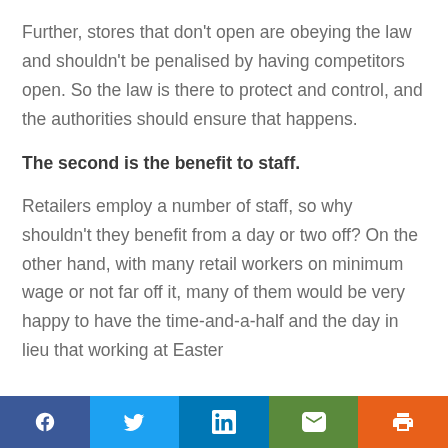Further, stores that don't open are obeying the law and shouldn't be penalised by having competitors open. So the law is there to protect and control, and the authorities should ensure that happens.
The second is the benefit to staff.
Retailers employ a number of staff, so why shouldn't they benefit from a day or two off? On the other hand, with many retail workers on minimum wage or not far off it, many of them would be very happy to have the time-and-a-half and the day in lieu that working at Easter